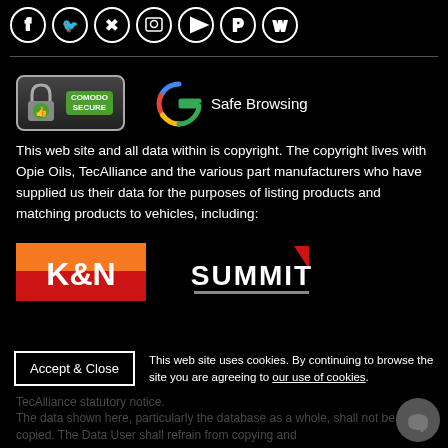[Figure (illustration): Row of circular social media / platform icons with white borders on black background]
[Figure (logo): Comodo Secure badge and Google Safe Browsing badge side by side]
This web site and all data within is copyright. The copyright lives with Opie Oils, TecAlliance and the various part manufacturers who have supplied us their data for the purposes of listing products and matching products to vehicles, including:
[Figure (logo): K&N logo and Summit logo side by side]
This web site uses cookies. By continuing to browse the site you are agreeing to our use of cookies.
TecAlliance statutory notice. The data shown here, particularly the database as a whole, shall not be copied. The Data User shall refrain from copying and